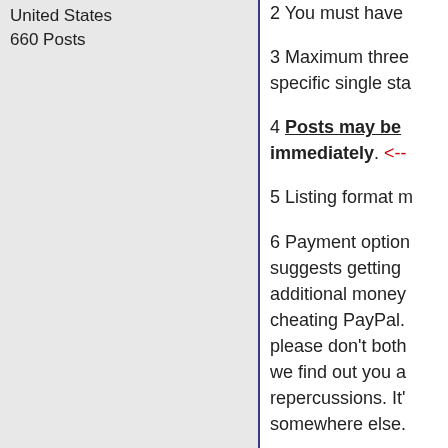United States
660 Posts
2 You must have
3 Maximum three specific single sta
4 Posts may be immediately. <--
5 Listing format m
6 Payment option suggests getting additional money cheating PayPal. please don't both we find out you a repercussions. It' somewhere else.